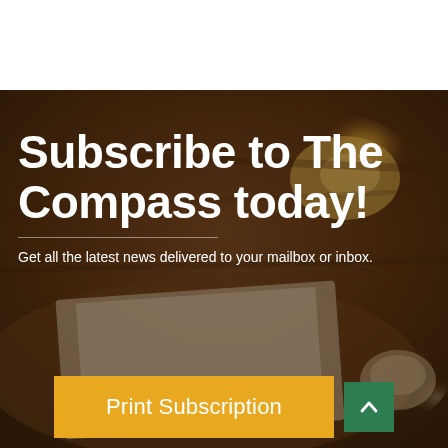[Figure (photo): Blurred background photo of a coffee table scene with an open book/notebook, a cup of coffee, and what appears to be a pastry or food item, warm brown tones.]
Subscribe to The Compass today!
Get all the latest news delivered to your mailbox or inbox.
Print Subscription